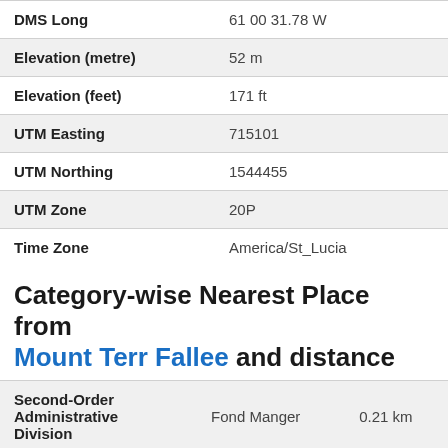| Field | Value |
| --- | --- |
| DMS Long | 61 00 31.78 W |
| Elevation (metre) | 52 m |
| Elevation (feet) | 171 ft |
| UTM Easting | 715101 |
| UTM Northing | 1544455 |
| UTM Zone | 20P |
| Time Zone | America/St_Lucia |
Category-wise Nearest Place from Mount Terr Fallee and distance
| Category | Place | Distance |
| --- | --- | --- |
| Second-Order Administrative Division | Fond Manger | 0.21 km |